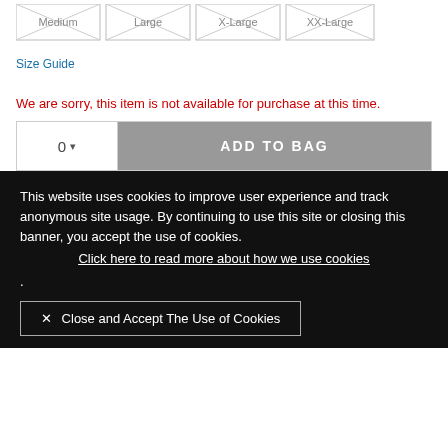[Figure (screenshot): Four size selector buttons: Medium, Large, X-Large, XX-Large, each with an X pattern overlay indicating unavailable/crossed-out]
Size Guide
We are sorry, this item is not available for purchase at this time.
[Figure (screenshot): Quantity selector showing 0 with dropdown arrow, and a grey ADD TO BAG button]
This website uses cookies to improve user experience and track anonymous site usage. By continuing to use this site or closing this banner, you accept the use of cookies.
Click here to read more about how we use cookies
.
✕ Close and Accept The Use of Cookies